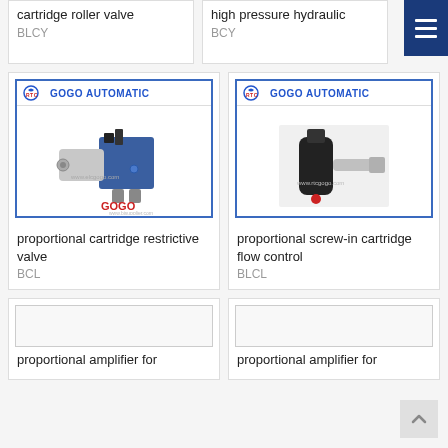[Figure (photo): Partial product card top-left: cartridge roller valve, code BLCY]
cartridge roller valve
BLCY
[Figure (photo): Partial product card top-right: high pressure hydraulic, code BCY]
high pressure hydraulic
BCY
[Figure (photo): GOGO AUTOMATIC product image: proportional cartridge restrictive valve with blue solenoid body]
proportional cartridge restrictive valve
BCL
[Figure (photo): GOGO AUTOMATIC product image: proportional screw-in cartridge flow control with black cylindrical body]
proportional screw-in cartridge flow control
BLCL
[Figure (photo): Partial product card bottom-left: proportional amplifier for]
proportional amplifier for
[Figure (photo): Partial product card bottom-right: proportional amplifier for]
proportional amplifier for